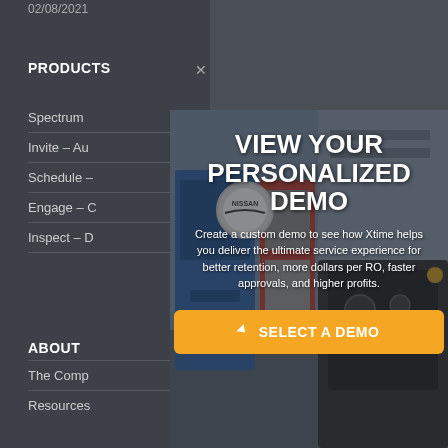02/08/2021
PRODUCTS
Spectrum
Invite – Au
Schedule –
Engage – C
Inspect – D
ABOUT
The Comp
Resources
[Figure (screenshot): Modal popup overlay on a website showing a car repair garage background. Contains heading 'VIEW YOUR PERSONALIZED DEMO', descriptive text about Xtime custom demo, and an orange 'SELECT A DEMO' button.]
VIEW YOUR PERSONALIZED DEMO
Create a custom demo to see how Xtime helps you deliver the ultimate service experience for better retention, more dollars per RO, faster approvals, and higher profits.
SELECT A DEMO